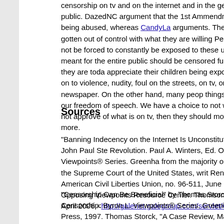censorship on tv and on the internet and in the general public. DazedNC argument that the 1st Ammendment is being abused, whereas CandyLa arguments. The media has gotten out of control with what they are willing People should not be forced to constantly be exposed to these undesirae meant for the entire public should be censored further than they are toda appreciate their children being exposed early-on to violence, nudity, foul on the streets, on tv, or in the newspaper. On the other hand, many peop things infringes our freedom of speech. We have a choice to not watch o do not approve of what is on tv, then they should monitor them more.
Sources
"Banning Indecency on the Internet Is Unconstitutional" by John Paul Ste Revolution. Paul A. Winters, Ed. Opposing Viewpoints® Series. Greenha from the majority opinion of the Supreme Court of the United States, writ Reno v. American Civil Liberties Union, no. 96-511, June 1997. Opposing Viewpoints Resource Center. Thomson Gale. 07 April 2006 <http://galenet.galegroup.com/servlet/OVRC>
"Censorship Can Be Beneficial" by Thomas Storck. Censorship. Byron L. Viewpoints® Series. Greenhaven Press, 1997. Thomas Storck, "A Case Review, May 1996. Copyright ©1996 New Oxford Review. Reprinted with